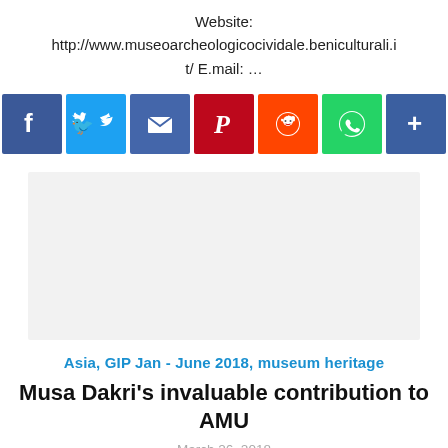Website:
http://www.museoarcheologicocividale.beniculturali.it/ E.mail: …
[Figure (infographic): Row of social media sharing icons: Facebook (blue), Twitter (light blue), Email (blue), Pinterest (dark red), Reddit (orange), WhatsApp (green), Share/Add (blue)]
[Figure (other): Advertisement placeholder block (light grey background)]
Asia, GIP Jan - June 2018, museum heritage
Musa Dakri's invaluable contribution to AMU
March 26, 2018